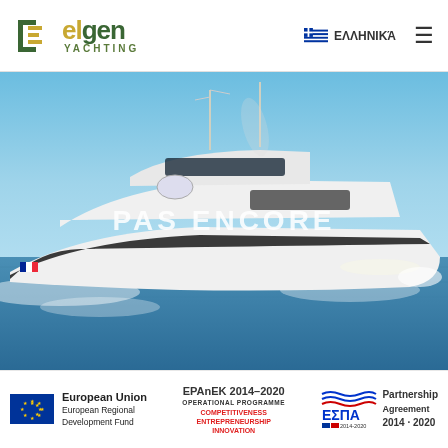elgen YACHTING — ΕΛΛΗΝΙΚΆ
[Figure (photo): A large white luxury motor yacht named PAS ENCORE cruising at speed on blue Mediterranean water under a clear sky. The yacht has multiple decks, mast, and antenna arrays.]
European Union European Regional Development Fund | EPAnEK 2014–2020 Operational Programme Competitiveness Entrepreneurship Innovation | ΕΣΠΑ 2014-2020 Partnership Agreement 2014-2020